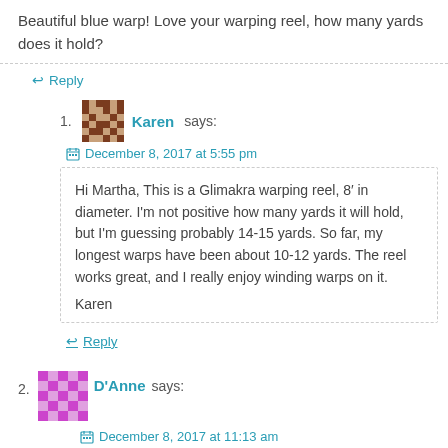Beautiful blue warp! Love your warping reel, how many yards does it hold?
↩ Reply
1. Karen says:
December 8, 2017 at 5:55 pm
Hi Martha, This is a Glimakra warping reel, 8′ in diameter. I'm not positive how many yards it will hold, but I'm guessing probably 14-15 yards. So far, my longest warps have been about 10-12 yards. The reel works great, and I really enjoy winding warps on it.

Karen
↩ Reply
2. D'Anne says:
December 8, 2017 at 11:13 am